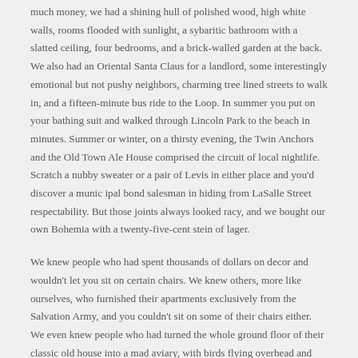much money, we had a shining hull of polished wood, high white walls, rooms flooded with sunlight, a sybaritic bathroom with a slatted ceiling, four bedrooms, and a brick-walled garden at the back. We also had an Oriental Santa Claus for a landlord, some interestingly emotional but not pushy neighbors, charming tree lined streets to walk in, and a fifteen-minute bus ride to the Loop. In summer you put on your bathing suit and walked through Lincoln Park to the beach in minutes. Summer or winter, on a thirsty evening, the Twin Anchors and the Old Town Ale House comprised the circuit of local nightlife. Scratch a nubby sweater or a pair of Levis in either place and you'd discover a munic ipal bond salesman in hiding from LaSalle Street respectability. But those joints always looked racy, and we bought our own Bohemia with a twenty-five-cent stein of lager.
We knew people who had spent thousands of dollars on decor and wouldn't let you sit on certain chairs. We knew others, more like ourselves, who furnished their apartments exclusively from the Salvation Army, and you couldn't sit on some of their chairs either. We even knew people who had turned the whole ground floor of their classic old house into a mad aviary, with birds flying overhead and perching on tree limbs and guests indiscriminately. It was that kind of place. Most of it still is.